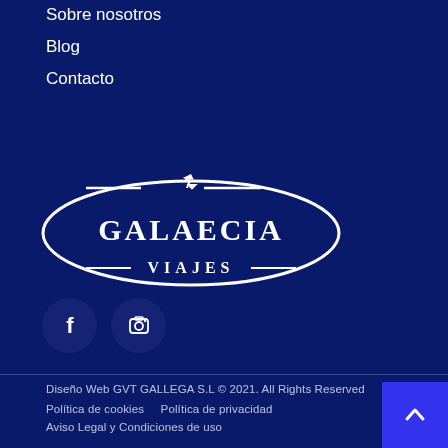Sobre nosotros
Blog
Contacto
[Figure (logo): Galaecia Viajes logo — white oval with airplane silhouette and text GALAECIA VIAJES]
[Figure (infographic): Social media icons: Facebook (f) and Instagram (camera) in dark blue circular buttons]
Diseño Web GVT GALLEGA S.L © 2021. All Rights Reserved
Política de cookies    Política de privacidad
Aviso Legal y Condiciones de uso
Condiciones de contratación